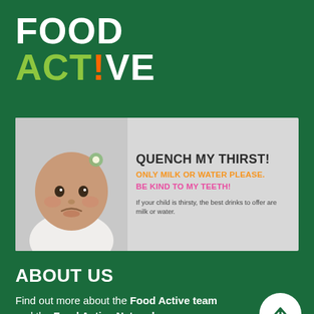FOOD ACTIVE
[Figure (infographic): Banner showing a baby with text: QUENCH MY THIRST! ONLY MILK OR WATER PLEASE. BE KIND TO MY TEETH! If your child is thirsty, the best drinks to offer are milk or water.]
ABOUT US
Find out more about the Food Active team and the Food Active Network
WHAT WE DO